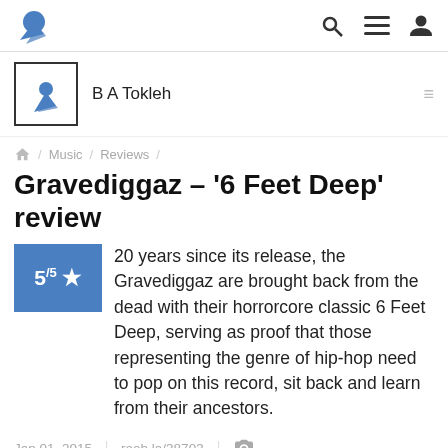B A Tokleh — navigation header with logo and icons
B A Tokleh
Home / Music / Reviews /
Gravediggaz – '6 Feet Deep' review
5/5 ★ 20 years since its release, the Gravediggaz are brought back from the dead with their horrorcore classic 6 Feet Deep, serving as proof that those representing the genre of hip-hop need to pop on this record, sit back and learn from their ancestors.
Jan 01, 2015 | roob.la/38703 | 📷